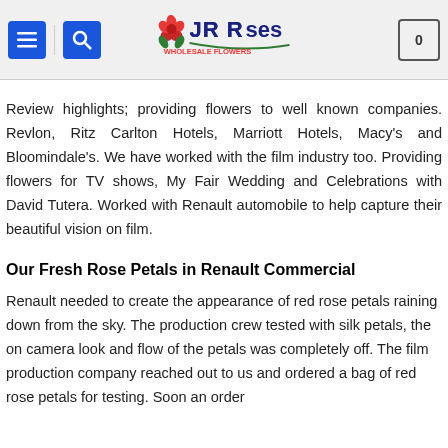JR Roses has been receiving positive reviews from bakeries, places, restaurants, and everyday consumers from all over America.
Review highlights; providing flowers to well known companies. Revlon, Ritz Carlton Hotels, Marriott Hotels, Macy's and Bloomindale's. We have worked with the film industry too. Providing flowers for TV shows, My Fair Wedding and Celebrations with David Tutera. Worked with Renault automobile to help capture their beautiful vision on film.
Our Fresh Rose Petals in Renault Commercial
Renault needed to create the appearance of red rose petals raining down from the sky. The production crew tested with silk petals, the on camera look and flow of the petals was completely off. The film production company reached out to us and ordered a bag of red rose petals for testing. Soon an order was placed...